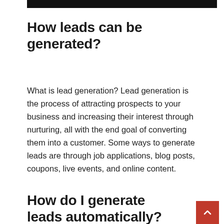[Figure (other): Black rectangular bar at top of page]
How leads can be generated?
What is lead generation? Lead generation is the process of attracting prospects to your business and increasing their interest through nurturing, all with the end goal of converting them into a customer. Some ways to generate leads are through job applications, blog posts, coupons, live events, and online content.
How do I generate leads automatically?